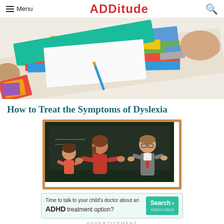≡ Menu | ADDitude | 🔍
[Figure (photo): Close-up photo of colorful school folders/binders on a desk with a hand visible]
How to Treat the Symptoms of Dyslexia
[Figure (illustration): Illustrated scene with a child and adult woman (in red) speaking with a teacher/doctor in front of a chalkboard]
[Figure (infographic): Advertisement banner: Time to talk to your child's doctor about an ADHD treatment option? Search button. S42012 08/18]
ADVERTISEMENT